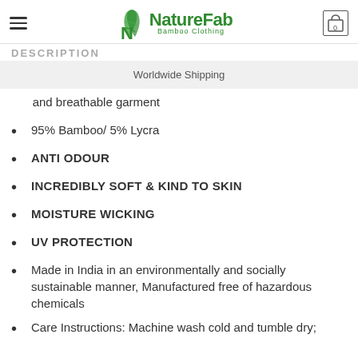NatureFab Bamboo Clothing
DESCRIPTION
Worldwide Shipping
and breathable garment
95% Bamboo/ 5% Lycra
ANTI ODOUR
INCREDIBLY SOFT & KIND TO SKIN
MOISTURE WICKING
UV PROTECTION
Made in India in an environmentally and socially sustainable manner, Manufactured free of hazardous chemicals
Care Instructions: Machine wash cold and tumble dry;